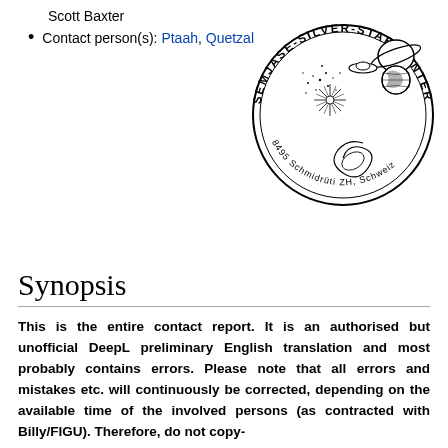Scott Baxter
Contact person(s): Ptaah, Quetzal
[Figure (logo): Semjase-Silver-Star-Center circular logo with text '8495 Schmidrueti ZH, Schweiz' around the bottom, featuring cosmic imagery including planets, stars, and galaxies]
Synopsis
This is the entire contact report. It is an authorised but unofficial DeepL preliminary English translation and most probably contains errors. Please note that all errors and mistakes etc. will continuously be corrected, depending on the available time of the involved persons (as contracted with Billy/FIGU). Therefore, do not copy-